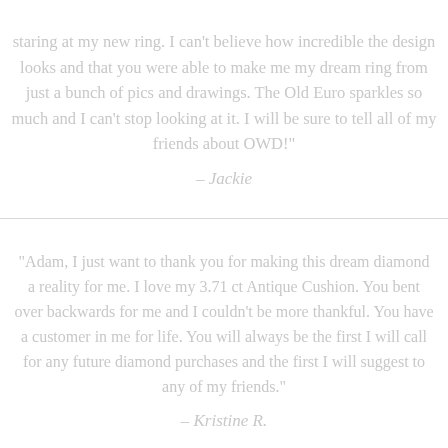staring at my new ring. I can't believe how incredible the design looks and that you were able to make me my dream ring from just a bunch of pics and drawings. The Old Euro sparkles so much and I can't stop looking at it. I will be sure to tell all of my friends about OWD!"
– Jackie
"Adam, I just want to thank you for making this dream diamond a reality for me. I love my 3.71 ct Antique Cushion. You bent over backwards for me and I couldn't be more thankful. You have a customer in me for life. You will always be the first I will call for any future diamond purchases and the first I will suggest to any of my friends."
– Kristine R.